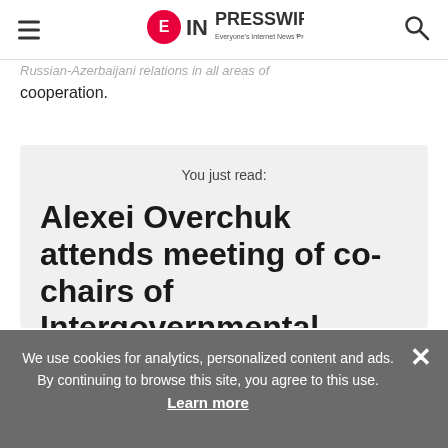EIN Presswire — Everyone's Internet News Presswire
...Russian-Azerbaijani relations in all areas of cooperation.
You just read:
Alexei Overchuk attends meeting of co-chairs of Intergovernmental
We use cookies for analytics, personalized content and ads. By continuing to browse this site, you agree to this use. Learn more